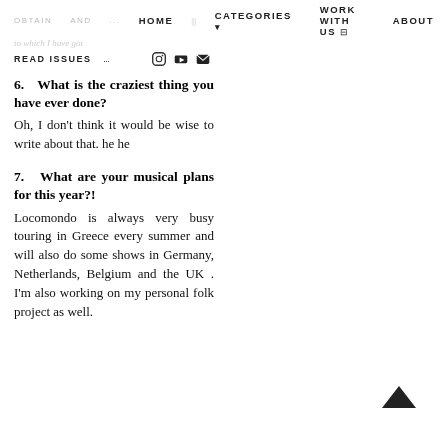HOME   CATEGORIES ▾   WORK WITH US ⊟   ABOUT
READ ISSUES
6.  What is the craziest thing you have ever done?
Oh, I don't think it would be wise to write about that. he he
7.  What are your musical plans for this year?!
Locomondo is always very busy touring in Greece every summer and will also do some shows in Germany, Netherlands, Belgium and the UK . I'm also working on my personal folk project as well.